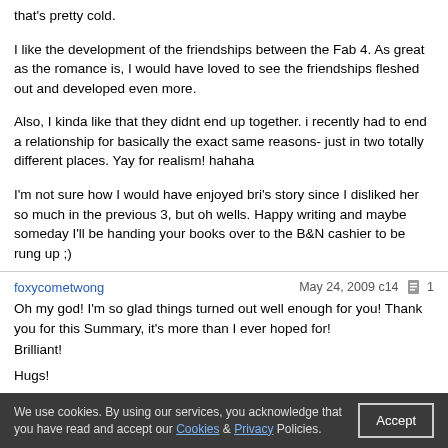that's pretty cold.
I like the development of the friendships between the Fab 4. As great as the romance is, I would have loved to see the friendships fleshed out and developed even more.
Also, I kinda like that they didnt end up together. i recently had to end a relationship for basically the exact same reasons- just in two totally different places. Yay for realism! hahaha
I'm not sure how I would have enjoyed bri's story since I disliked her so much in the previous 3, but oh wells. Happy writing and maybe someday I'll be handing your books over to the B&N cashier to be rung up ;)
foxycometwong | May 24, 2009 c14 | 1
Oh my god! I'm so glad things turned out well enough for you! Thank you for this Summary, it's more than I ever hoped for!

Brilliant!

Hugs!

QueenAmi
Little Silver Kitten | May 24, 2009 c14 | 6
Wow...I hate it when plagiarism happens. I know of
We use cookies. By using our services, you acknowledge that you have read and accept our Cookies & Privacy Policies.